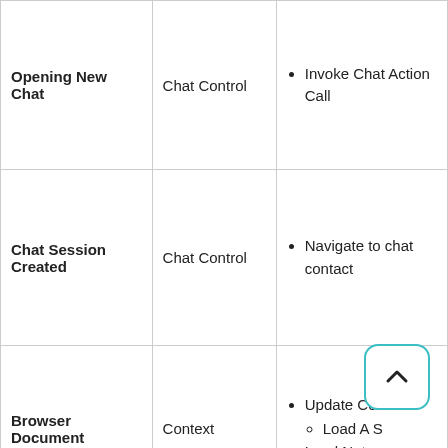| Opening New Chat | Chat Control | • Invoke Chat Action Call |
| Chat Session Created | Chat Control | • Navigate to chat contact |
| Browser Document | Context | • Update Context
  ○ Load A S
• Load Notes |